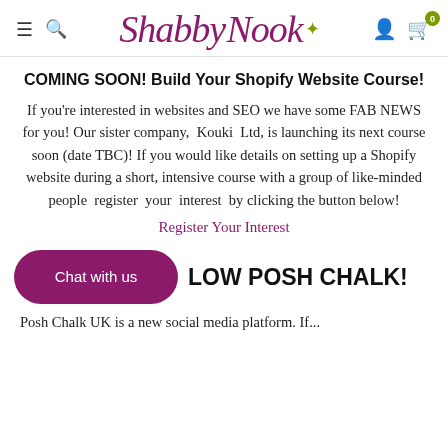ShabbyNook — navigation header with hamburger menu, search icon, logo, user icon, cart icon with badge 0
COMING SOON! Build Your Shopify Website Course!
If you're interested in websites and SEO we have some FAB NEWS for you! Our sister company, Kouki Ltd, is launching its next course soon (date TBC)! If you would like details on setting up a Shopify website during a short, intensive course with a group of like-minded people register your interest by clicking the button below!
Register Your Interest
[Figure (other): Chat with us button (rounded rectangle, dark magenta/purple background, white text)]
LOW POSH CHALK!
Posh Chalk UK is a new social media platform. If...